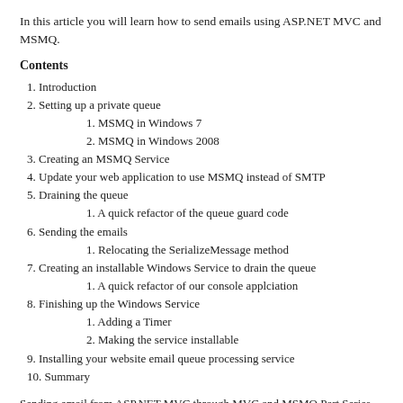In this article you will learn how to send emails using ASP.NET MVC and MSMQ.
Contents
1. Introduction
2. Setting up a private queue
1. MSMQ in Windows 7
2. MSMQ in Windows 2008
3. Creating an MSMQ Service
4. Update your web application to use MSMQ instead of SMTP
5. Draining the queue
1. A quick refactor of the queue guard code
6. Sending the emails
1. Relocating the SerializeMessage method
7. Creating an installable Windows Service to drain the queue
1. A quick refactor of our console applciation
8. Finishing up the Windows Service
1. Adding a Timer
2. Making the service installable
9. Installing your website email queue processing service
10. Summary
Sending email from ASP.NET MVC through MVC and MSMQ Part Series